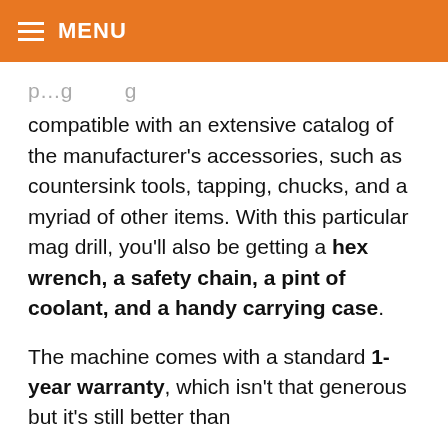MENU
compatible with an extensive catalog of the manufacturer's accessories, such as countersink tools, tapping, chucks, and a myriad of other items. With this particular mag drill, you'll also be getting a hex wrench, a safety chain, a pint of coolant, and a handy carrying case.
The machine comes with a standard 1-year warranty, which isn't that generous but it's still better than